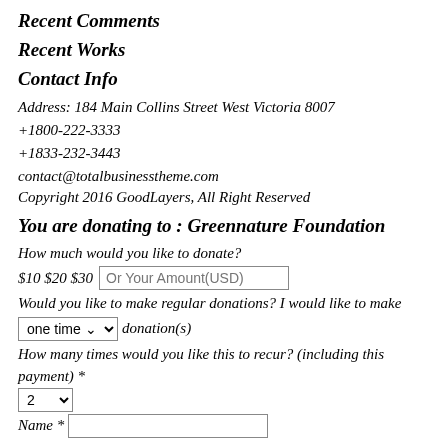Recent Comments
Recent Works
Contact Info
Address: 184 Main Collins Street West Victoria 8007
+1800-222-3333
+1833-232-3443
contact@totalbusinesstheme.com
Copyright 2016 GoodLayers, All Right Reserved
You are donating to : Greennature Foundation
How much would you like to donate?
$10 $20 $30  Or Your Amount(USD)
Would you like to make regular donations? I would like to make one time donation(s)
How many times would you like this to recur? (including this payment) * 2
Name *